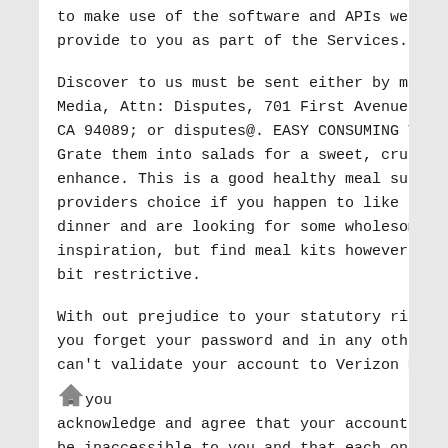to make use of the software and APIs we could provide to you as part of the Services.
Discover to us must be sent either by mail to Verizon Media, Attn: Disputes, 701 First Avenue, Sunnyvale, CA 94089; or disputes@. EASY CONSUMING TIP: Grate them into salads for a sweet, crunchy enhance. This is a good healthy meal supply providers choice if you happen to like to prepare dinner and are looking for some wholesome kitchen inspiration, but find meal kits however to be a little bit restrictive.
With out prejudice to your statutory rights, should you forget your password and in any other case can't validate your account to Verizon Media, you acknowledge and agree that your account could also be inaccessible to you and that each one data